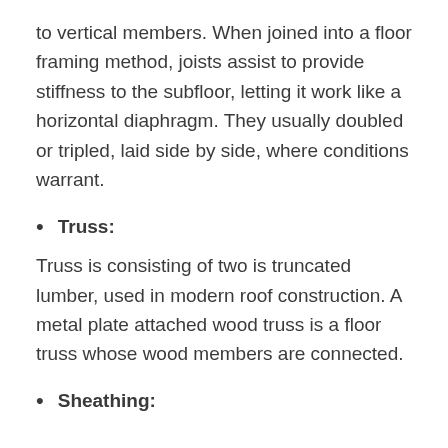to vertical members. When joined into a floor framing method, joists assist to provide stiffness to the subfloor, letting it work like a horizontal diaphragm. They usually doubled or tripled, laid side by side, where conditions warrant.
Truss:
Truss is consisting of two is truncated lumber, used in modern roof construction. A metal plate attached wood truss is a floor truss whose wood members are connected.
Sheathing: